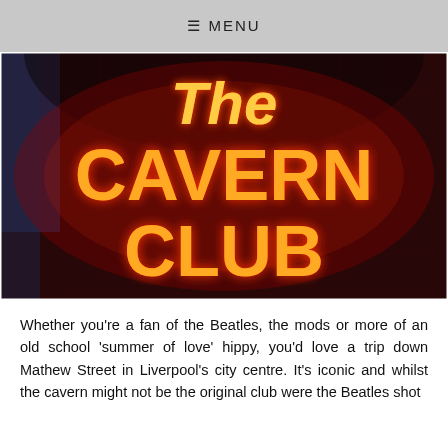☰ MENU
[Figure (photo): Neon sign reading 'The CAVERN CLUB' in glowing orange-red letters on a dark red/purple brick wall background]
Whether you're a fan of the Beatles, the mods or more of an old school 'summer of love' hippy, you'd love a trip down Mathew Street in Liverpool's city centre. It's iconic and whilst the cavern might not be the original club were the Beatles shot